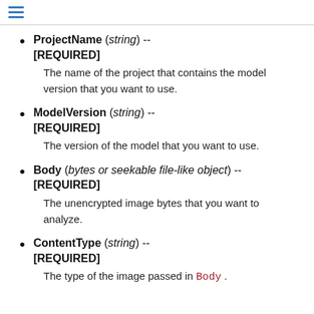≡
ProjectName (string) -- [REQUIRED]
The name of the project that contains the model version that you want to use.
ModelVersion (string) -- [REQUIRED]
The version of the model that you want to use.
Body (bytes or seekable file-like object) -- [REQUIRED]
The unencrypted image bytes that you want to analyze.
ContentType (string) -- [REQUIRED]
The type of the image passed in Body .